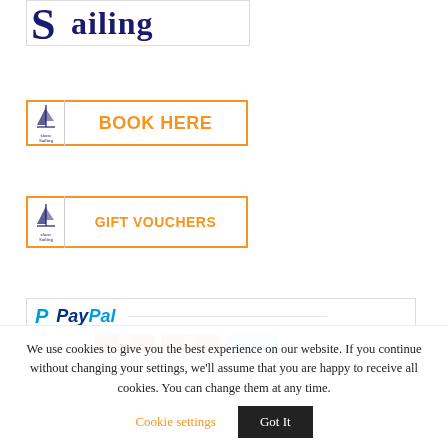[Figure (logo): Shore Sailing logo with large stylized 'S' and text 'ailing' in dark navy serif font]
[Figure (logo): Shore Sailing BOOK HERE button with orange border, small S-logo on left, orange bold text BOOK HERE]
[Figure (logo): Shore Sailing GIFT VOUCHERS button with orange border, small S-logo on left, orange bold text GIFT VOUCHERS]
[Figure (logo): PayPal payment banner with PayPal logo and credit card icons below a horizontal line]
We use cookies to give you the best experience on our website. If you continue without changing your settings, we'll assume that you are happy to receive all cookies. You can change them at any time.
Cookie settings
Got It